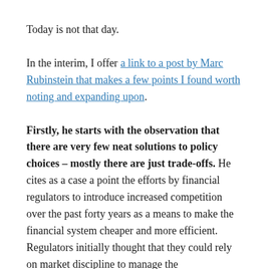Today is not that day.
In the interim, I offer a link to a post by Marc Rubinstein that makes a few points I found worth noting and expanding upon.
Firstly, he starts with the observation that there are very few neat solutions to policy choices – mostly there are just trade-offs. He cites as a case a point the efforts by financial regulators to introduce increased competition over the past forty years as a means to make the financial system cheaper and more efficient. Regulators initially thought that they could rely on market discipline to manage the